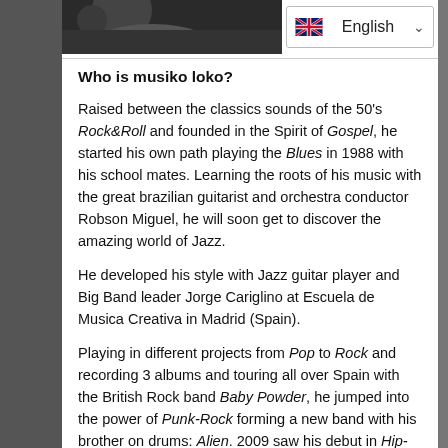[Figure (photo): Partial black and white photo of a person at top left]
English (language selector with UK flag)
Who is musiko loko?
Raised between the classics sounds of the 50's Rock&Roll and founded in the Spirit of Gospel, he started his own path playing the Blues in 1988 with his school mates. Learning the roots of his music with the great brazilian guitarist and orchestra conductor Robson Miguel, he will soon get to discover the amazing world of Jazz.
He developed his style with Jazz guitar player and Big Band leader Jorge Cariglino at Escuela de Musica Creativa in Madrid (Spain).
Playing in different projects from Pop to Rock and recording 3 albums and touring all over Spain with the British Rock band Baby Powder, he jumped into the power of Punk-Rock forming a new band with his brother on drums: Alien. 2009 saw his debut in Hip-Hop as a MC and producer.